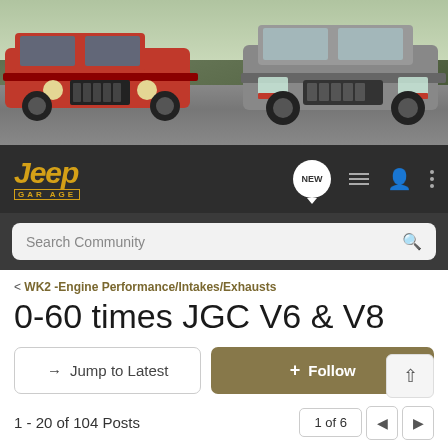[Figure (photo): Website banner showing two Jeep vehicles: a red Jeep Wrangler on the left and a silver Jeep Grand Cherokee on the right, on an outdoor rocky terrain background]
[Figure (logo): Jeep Garage logo - yellow italic 'Jeep' text with 'GAR AGE' subtitle in yellow, on dark background with navigation icons including NEW chat bubble, list icon, person icon, and three-dots menu]
Search Community
< WK2 -Engine Performance/Intakes/Exhausts
0-60 times JGC V6 & V8
→ Jump to Latest
+ Follow
1 - 20 of 104 Posts
1 of 6
gcbimmer · Registered 🇺🇸